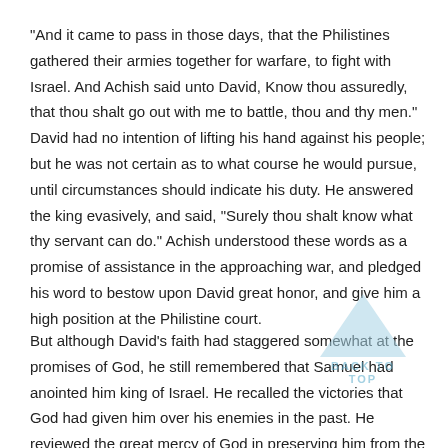"And it came to pass in those days, that the Philistines gathered their armies together for warfare, to fight with Israel. And Achish said unto David, Know thou assuredly, that thou shalt go out with me to battle, thou and thy men." David had no intention of lifting his hand against his people; but he was not certain as to what course he would pursue, until circumstances should indicate his duty. He answered the king evasively, and said, "Surely thou shalt know what thy servant can do." Achish understood these words as a promise of assistance in the approaching war, and pledged his word to bestow upon David great honor, and give him a high position at the Philistine court.
[Figure (illustration): A light blue upward-pointing triangle (back to top arrow icon) with the text 'BACK TO TOP' below it in blue letters, serving as a navigation element.]
But although David's faith had staggered somewhat at the promises of God, he still remembered that Samuel had anointed him king of Israel. He recalled the victories that God had given him over his enemies in the past. He reviewed the great mercy of God in preserving him from the hand of Saul, and determined not to betray a sacred trust. Even though